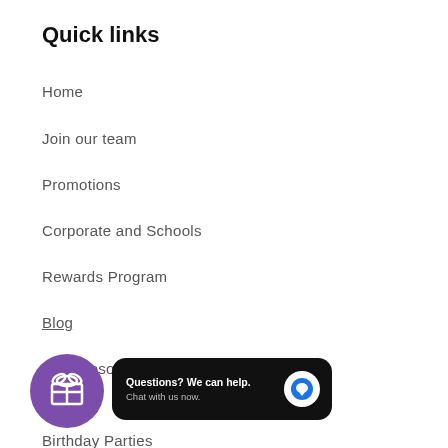Quick links
Home
Join our team
Promotions
Corporate and Schools
Rewards Program
Blog
Free Resources
[Figure (illustration): Purple circle icon with a gift/present symbol, representing a rewards program widget]
[Figure (screenshot): Black rounded chat widget with text 'Questions? We can help. Chat with us now.' and a blue chat bubble icon]
Birthday Parties